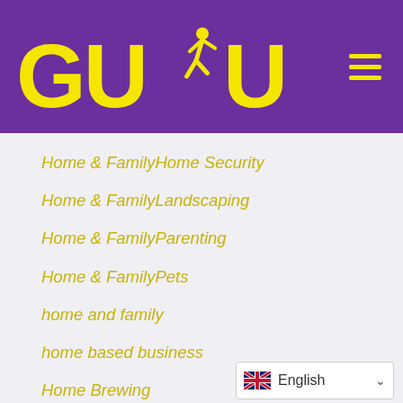[Figure (logo): GUDU logo with yellow text and a running figure silhouette on purple background, with hamburger menu icon on the right]
Home & FamilyHome Security
Home & FamilyLandscaping
Home & FamilyParenting
Home & FamilyPets
home and family
home based business
Home Brewing
home health care
home improvement
hookups
horse racing
Horses
[Figure (other): Language selector widget showing UK flag and 'English' text with dropdown arrow]